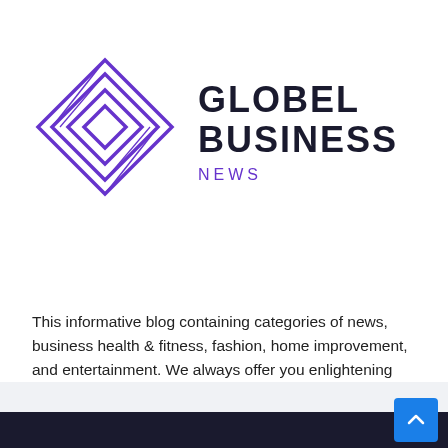[Figure (logo): Globel Business News logo: a purple geometric diamond/rhombus layered shape icon on the left, with 'GLOBEL BUSINESS' in large bold dark serif letters and 'NEWS' in purple spaced capitals below]
This informative blog containing categories of news, business health & fitness, fashion, home improvement, and entertainment. We always offer you enlightening information to spread positivity.